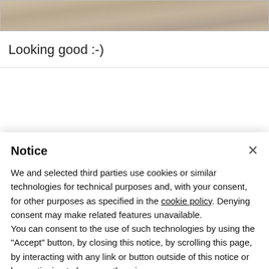[Figure (photo): Partial view of stone or brick pavement texture at the top of the page]
Looking good :-)
Notice
We and selected third parties use cookies or similar technologies for technical purposes and, with your consent, for other purposes as specified in the cookie policy. Denying consent may make related features unavailable.
You can consent to the use of such technologies by using the "Accept" button, by closing this notice, by scrolling this page, by interacting with any link or button outside of this notice or by continuing to browse otherwise.
Accept
Message
more and customize